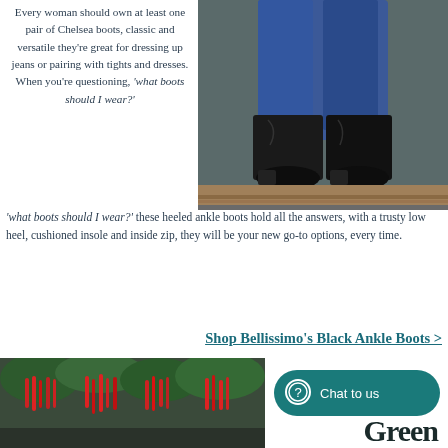Every woman should own at least one pair of Chelsea boots, classic and versatile they're great for dressing up jeans or pairing with tights and dresses. When you're questioning, 'what boots should I wear?' these heeled ankle boots hold all the answers, with a trusty low heel, cushioned insole and inside zip, they will be your new go-to options, every time.
[Figure (photo): Photo of a woman's legs in blue jeans wearing black Chelsea ankle boots, sitting on a wooden bench against a grey surface]
Shop Bellissimo's Black Ankle Boots >
[Figure (photo): Photo of red hanging plant/flower decorations, possibly in a market or outdoor setting]
Chat to us
Green